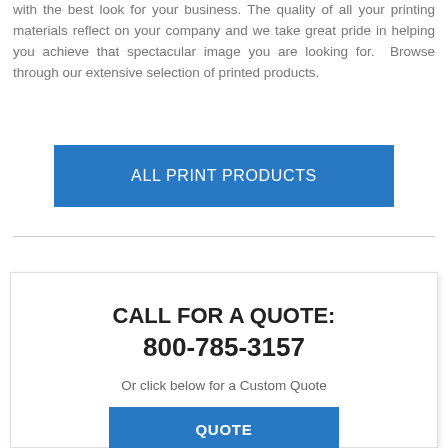with the best look for your business. The quality of all your printing materials reflect on your company and we take great pride in helping you achieve that spectacular image you are looking for.  Browse through our extensive selection of printed products.
ALL PRINT PRODUCTS
CALL FOR A QUOTE:
800-785-3157
Or click below for a Custom Quote
QUOTE